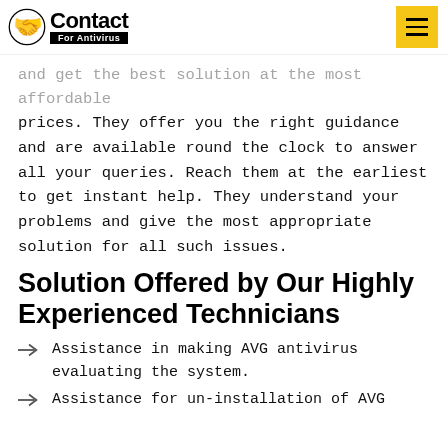Contact For Antivirus
and get the best solution at the most affordable prices. They offer you the right guidance and are available round the clock to answer all your queries. Reach them at the earliest to get instant help. They understand your problems and give the most appropriate solution for all such issues.
Solution Offered by Our Highly Experienced Technicians
Assistance in making AVG antivirus evaluating the system.
Assistance for un-installation of AVG